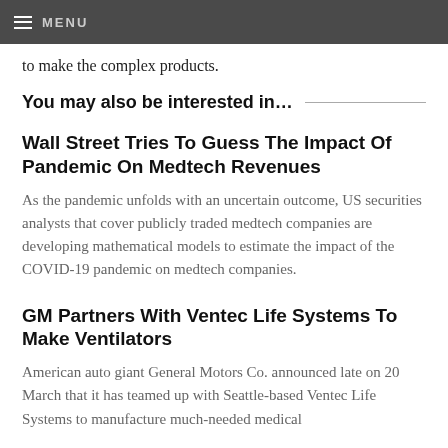MENU
to make the complex products.
You may also be interested in…
Wall Street Tries To Guess The Impact Of Pandemic On Medtech Revenues
As the pandemic unfolds with an uncertain outcome, US securities analysts that cover publicly traded medtech companies are developing mathematical models to estimate the impact of the COVID-19 pandemic on medtech companies.
GM Partners With Ventec Life Systems To Make Ventilators
American auto giant General Motors Co. announced late on 20 March that it has teamed up with Seattle-based Ventec Life Systems to manufacture much-needed medical